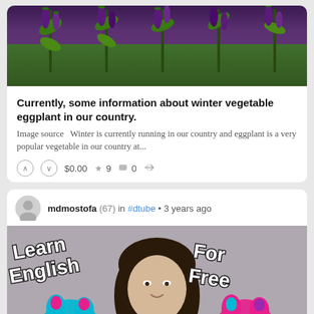[Figure (photo): Photo of eggplants growing on plants in a field with green grass background]
Currently, some information about winter vegetable eggplant in our country.
Image source  Winter is currently running in our country and eggplant is a very popular vegetable in our country at...
$0.00  9  0
mdmostofa (67) in #dtube • 3 years ago
[Figure (photo): Video thumbnail showing a woman with puppet animals and text 'Learn English For Free']